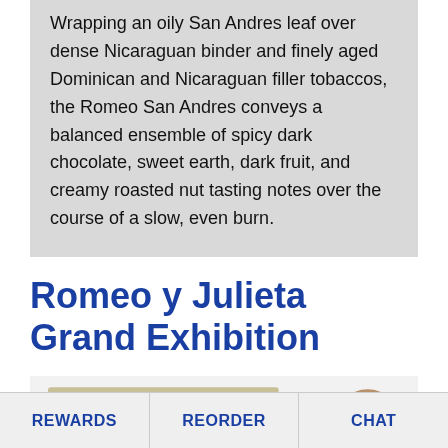Wrapping an oily San Andres leaf over dense Nicaraguan binder and finely aged Dominican and Nicaraguan filler tobaccos, the Romeo San Andres conveys a balanced ensemble of spicy dark chocolate, sweet earth, dark fruit, and creamy roasted nut tasting notes over the course of a slow, even burn.
Romeo y Julieta Grand Exhibition
[Figure (photo): Product image showing a cigar box and a cigar on a light gray background, partially cropped at the bottom of the page.]
REWARDS   REORDER   CHAT